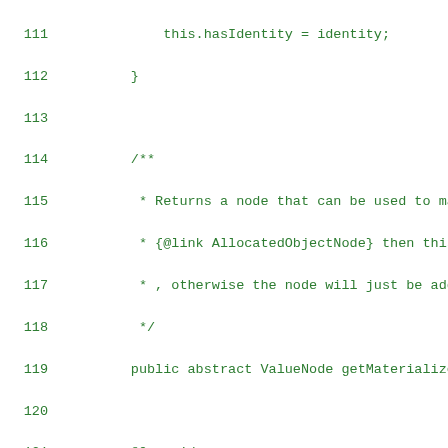[Figure (screenshot): Source code listing lines 111-125 in a monospace green-on-white code editor style. Shows Java code with a constructor closing brace, a Javadoc comment block, an abstract method declaration, an @Override annotation, and a generate method with a comment and closing braces.]